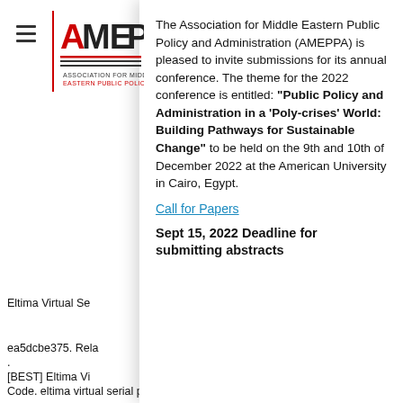[Figure (logo): AMEPPA logo with red and black text, horizontal lines below]
The Association for Middle Eastern Public Policy and Administration (AMEPPA) is pleased to invite submissions for its annual conference. The theme for the 2022 conference is entitled: “Public Policy and Administration in a ‘Poly-crises’ World: Building Pathways for Sustainable Change” to be held on the 9th and 10th of December 2022 at the American University in Cairo, Egypt.
Call for Papers
Sept 15, 2022 Deadline for submitting abstracts
Eltima Virtual Se
ea5dcbe375. Rela
.
[BEST] Eltima Vi
Code. eltima virtual serial port driver 7.2 registration